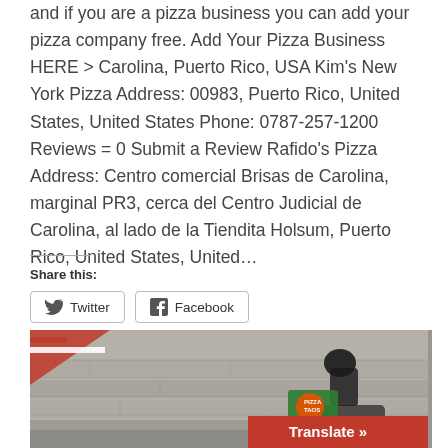and if you are a pizza business you can add your pizza company free. Add Your Pizza Business HERE > Carolina, Puerto Rico, USA Kim's New York Pizza Address: 00983, Puerto Rico, United States, United States Phone: 0787-257-1200 Reviews = 0 Submit a Review Rafido's Pizza Address: Centro comercial Brisas de Carolina, marginal PR3, cerca del Centro Judicial de Carolina, al lado de la Tiendita Holsum, Puerto Rico, United States, United...
Share this:
[Figure (photo): A pizza delivery rider on a scooter with a pizza delivery box (branded PIZZA), wearing black helmet and clothing, riding past a stone wall. Red and white diagonal stripes visible in the top-left corner (flag motif). Red 'Translate »' bar in the bottom-right corner.]